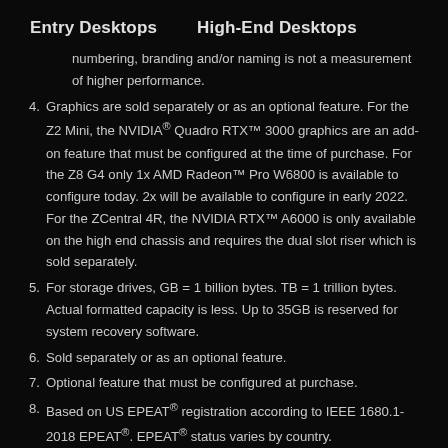Entry Desktops    High-End Desktops
numbering, branding and/or naming is not a measurement of higher performance.
4. Graphics are sold separately or as an optional feature. For the Z2 Mini, the NVIDIA® Quadro RTX™ 3000 graphics are an add-on feature that must be configured at the time of purchase. For the Z8 G4 only 1x AMD Radeon™ Pro W6800 is available to configure today. 2x will be available to configure in early 2022. For the ZCentral 4R, the NVIDIA RTX™ A6000 is only available on the high end chassis and requires the dual slot riser which is sold separately.
5. For storage drives, GB = 1 billion bytes. TB = 1 trillion bytes. Actual formatted capacity is less. Up to 35GB is reserved for system recovery software.
6. Sold separately or as an optional feature.
7. Optional feature that must be configured at purchase.
8. Based on US EPEAT® registration according to IEEE 1680.1-2018 EPEAT®. EPEAT® status varies by country.